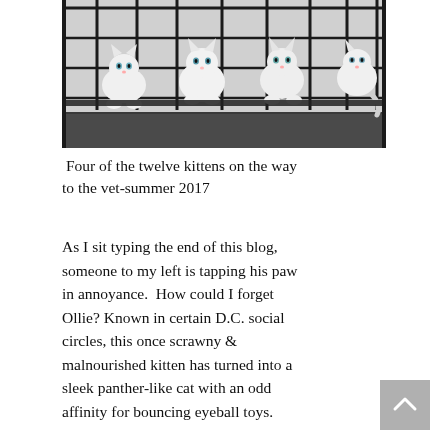[Figure (photo): Four white kittens inside a black wire cage/crate, photographed from the front. The kittens are looking toward the camera.]
Four of the twelve kittens on the way to the vet-summer 2017
As I sit typing the end of this blog, someone to my left is tapping his paw in annoyance.  How could I forget Ollie? Known in certain D.C. social circles, this once scrawny & malnourished kitten has turned into a sleek panther-like cat with an odd affinity for bouncing eyeball toys.